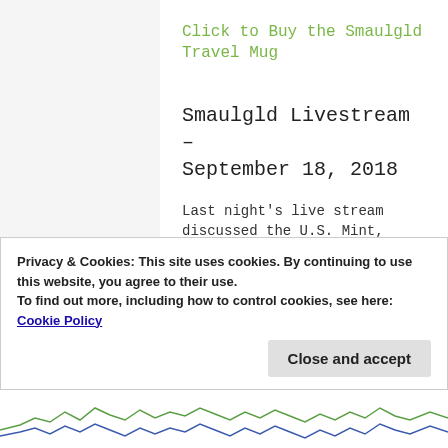Click to Buy the Smaulgld Travel Mug
Smaulgld Livestream – September 18, 2018
Last night's live stream discussed the U.S. Mint, Perth Mint, Austrian Mint and Canadian Mint silver sales.
Watch the video companion to “What’s up
Privacy & Cookies: This site uses cookies. By continuing to use this website, you agree to their use.
To find out more, including how to control cookies, see here: Cookie Policy
[Figure (continuous-plot): Bottom strip showing a financial line chart with green and blue lines on white background]